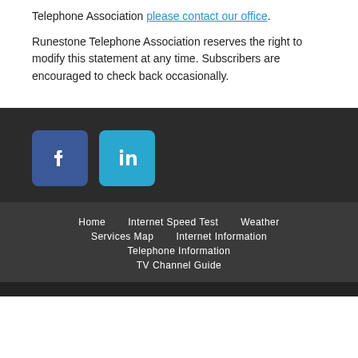Telephone Association please contact our office.
Runestone Telephone Association reserves the right to modify this statement at any time. Subscribers are encouraged to check back occasionally.
[Figure (other): Facebook and LinkedIn social media icon buttons on dark background]
Home   Internet Speed Test   Weather   Services Map   Internet Information   Telephone Information   TV Channel Guide